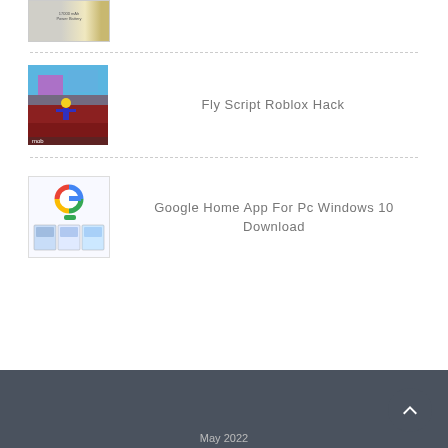[Figure (photo): Thumbnail image of a battery or label-related item, partially cut off at top]
Fly Script Roblox Hack
[Figure (screenshot): Screenshot of a Roblox game scene with a character flying in a room]
Google Home App For Pc Windows 10 Download
[Figure (screenshot): Screenshot of Google Home app with Google logo and app interface screenshots]
May 2022